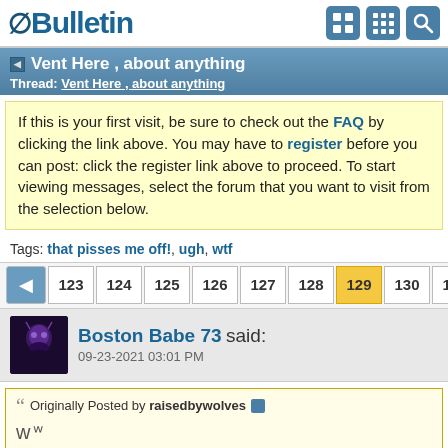vBulletin
Vent Here , about anything
Thread: Vent Here , about anything
If this is your first visit, be sure to check out the FAQ by clicking the link above. You may have to register before you can post: click the register link above to proceed. To start viewing messages, select the forum that you want to visit from the selection below.
Tags: that pisses me off!, ugh, wtf
123 124 125 126 127 128 129 130 131
Boston Babe 73 said:
09-23-2021 03:01 PM
Originally Posted by raisedbywolves